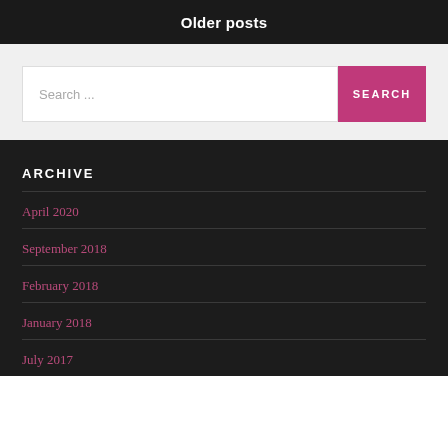Older posts
Search ...
ARCHIVE
April 2020
September 2018
February 2018
January 2018
July 2017